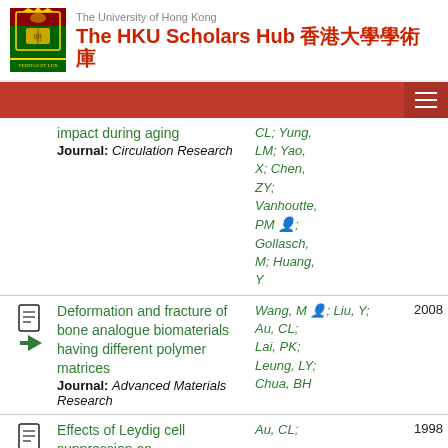[Figure (logo): The University of Hong Kong crest/logo]
The HKU Scholars Hub 香港大學學術庫
impact during aging
Journal: Circulation Research
Authors: CL; Yung, LM; Yao, X; Chen, ZY; Vanhoutte, PM [HKU member]; Gollasch, M; Huang, Y
Deformation and fracture of bone analogue biomaterials having different polymer matrices
Journal: Advanced Materials Research
Authors: Wang, M [HKU member]; Liu, Y; Au, CL; Lai, PK; Leung, LY; Chua, BH
Year: 2008
Effects of Leydig cell suppression on
Authors: Au, CL;
Year: 1998